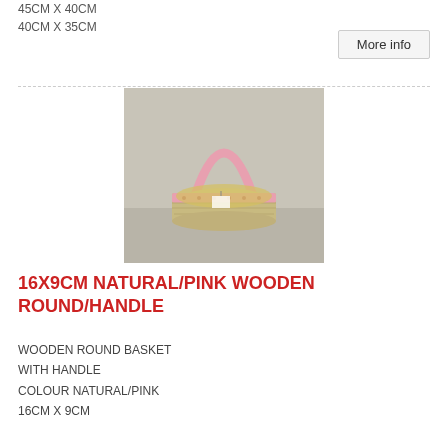45CM X 40CM
40CM X 35CM
More info
[Figure (photo): A small round wicker basket with a pink wooden handle and a pink band with polka dots around the upper rim, containing golden shredded paper. The basket has a natural woven texture. Product tag visible inside.]
16X9CM NATURAL/PINK WOODEN ROUND/HANDLE
WOODEN ROUND BASKET
WITH HANDLE
COLOUR NATURAL/PINK
16CM X 9CM